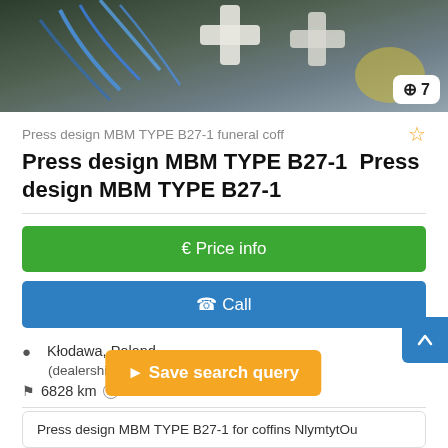[Figure (photo): Product photo of funeral coffin press design equipment with blue cables and white plastic components, with a badge showing magnifier icon and number 7]
Press design MBM TYPE B27-1 funeral coff ☆
Press design MBM TYPE B27-1  Press design MBM TYPE B27-1
€ Price info
✆ Call
Kłodawa, Poland [flag] (dealership location)
6828 km ?
1999
good (used)
⬆ Save search query
Press design MBM TYPE B27-1 for coffins NlymtytOu